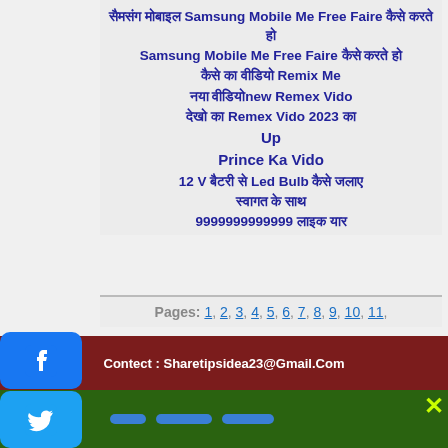सैमसंग मोबाइल Samsung Mobile Me Free Faire कैसे करते हो Samsung Mobile Me Free Faire कैसे करते हो कैसे का वीडियो Remix Me नया वीडियोnew Remex Vido देखो का Remex Vido 2023 का Up Prince Ka Vido 12 V बैटरी से Led Bulb कैसे जलाए स्वागत के साथ 9999999999999 लाइक यार
Pages: 1, 2, 3, 4, 5, 6, 7, 8, 9, 10, 11,
Contect : Sharetipsidea23@Gmail.Com